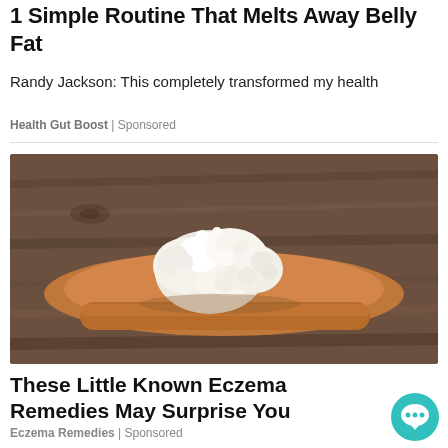1 Simple Routine That Melts Away Belly Fat
Randy Jackson: This completely transformed my health
Health Gut Boost | Sponsored
[Figure (photo): Kefir grains piled on a wooden spoon, placed on a rustic wooden surface]
These Little Known Eczema Remedies May Surprise You
Eczema Remedies | Sponsored